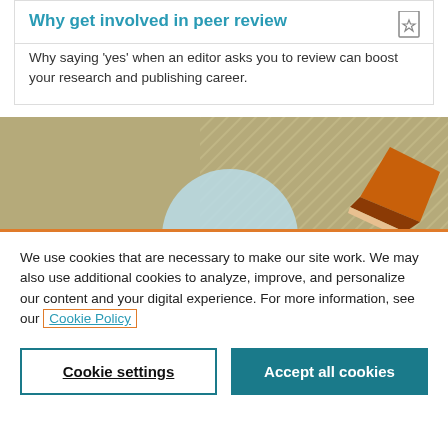Why get involved in peer review
Why saying 'yes' when an editor asks you to review can boost your research and publishing career.
[Figure (illustration): Decorative banner image with olive/beige background and diagonal stripe pattern, featuring a light blue circular element and an orange/brown pencil graphic]
We use cookies that are necessary to make our site work. We may also use additional cookies to analyze, improve, and personalize our content and your digital experience. For more information, see our Cookie Policy
Cookie settings
Accept all cookies